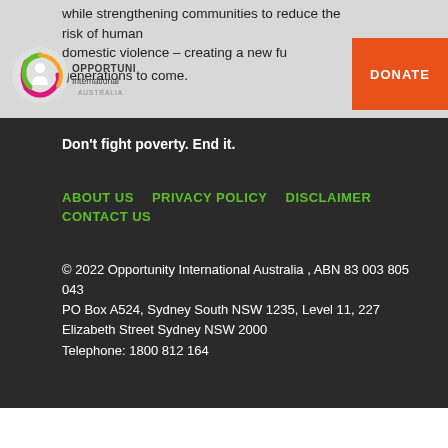while strengthening communities to reduce the risk of human domestic violence – creating a new fu… generations to come.
[Figure (logo): Opportunity International Australia logo – circular icon with colored swirl and text]
DONATE
Don't fight poverty. End it.
ABOUT US
PRIVACY POLICY
DISCLAIMER
CONTACT US
© 2022 Opportunity International Australia , ABN 83 003 805 043
PO Box A524, Sydney South NSW 1235, Level 11, 227 Elizabeth Street Sydney NSW 2000
Telephone: 1800 812 164